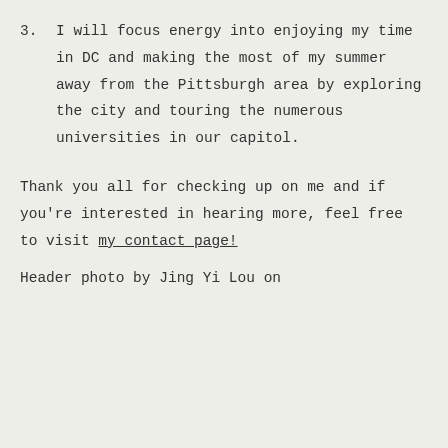3. I will focus energy into enjoying my time in DC and making the most of my summer away from the Pittsburgh area by exploring the city and touring the numerous universities in our capitol.
Thank you all for checking up on me and if you're interested in hearing more, feel free to visit my contact page!
Header photo by Jing Yi Lou on